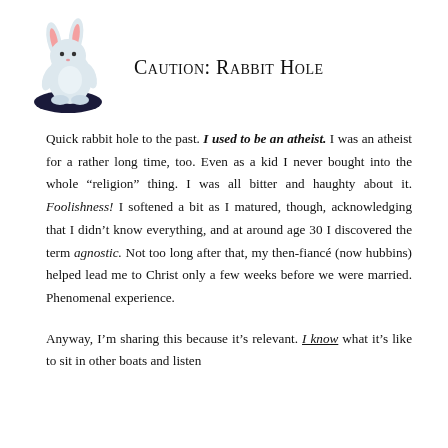[Figure (illustration): A cartoon white rabbit toy/stuffed animal emerging from a dark oval hole, with pink ears, standing upright]
Caution: Rabbit Hole
Quick rabbit hole to the past. I used to be an atheist. I was an atheist for a rather long time, too. Even as a kid I never bought into the whole “religion” thing. I was all bitter and haughty about it. Foolishness! I softened a bit as I matured, though, acknowledging that I didn’t know everything, and at around age 30 I discovered the term agnostic. Not too long after that, my then-fiancé (now hubbins) helped lead me to Christ only a few weeks before we were married. Phenomenal experience.
Anyway, I’m sharing this because it’s relevant. I know what it’s like to sit in other boats and listen